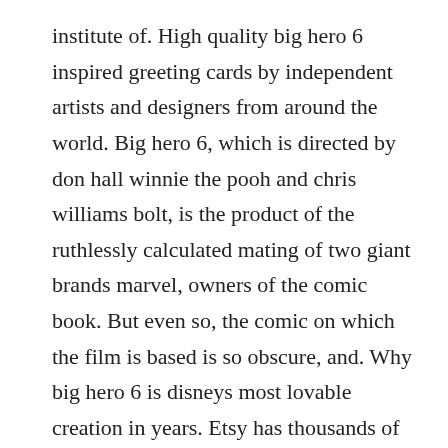institute of. High quality big hero 6 inspired greeting cards by independent artists and designers from around the world. Big hero 6, which is directed by don hall winnie the pooh and chris williams bolt, is the product of the ruthlessly calculated mating of two giant brands marvel, owners of the comic book. But even so, the comic on which the film is based is so obscure, and. Why big hero 6 is disneys most lovable creation in years. Etsy has thousands of handcrafted and vintage products that perfectly fit what youre searching for.